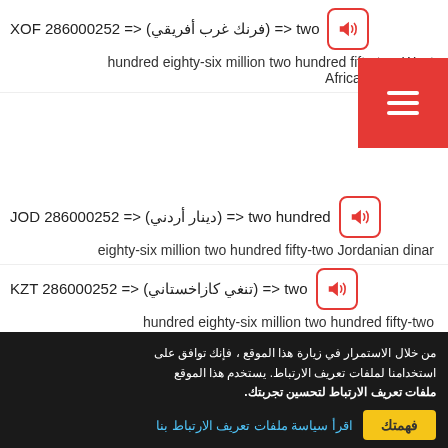286000252 XOF <= (فرنك غرب أفريقي) <= two hundred eighty-six million two hundred fifty-two West African CFA franc
286000252 JOD <= (دينار أردني) <= two hundred eighty-six million two hundred fifty-two Jordanian dinar
286000252 KZT <= (تنغي كازاخستاني) <= two hundred eighty-six million two hundred fifty-two Kazakhstani tenge
286000252 KPW <= (وون كوري شمالي) <= two hundred eighty-six million two hundred fifty-two North Korean won
من خلال الاستمرار في زيارة هذا الموقع ، فإنك توافق على استخدامنا لملفات تعريف الارتباط. يستخدم هذا الموقع ملفات تعريف الارتباط لتحسين تجربتك.
اقرأ سياسة ملفات تعريف الارتباط بنا